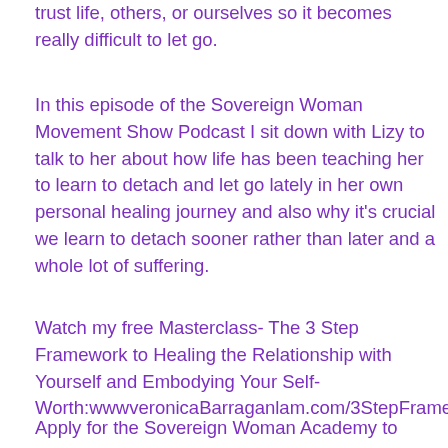trust life, others, or ourselves so it becomes really difficult to let go.
In this episode of the Sovereign Woman Movement Show Podcast I sit down with Lizy to talk to her about how life has been teaching her to learn to detach and let go lately in her own personal healing journey and also why it's crucial we learn to detach sooner rather than later and a whole lot of suffering.
Watch my free Masterclass- The 3 Step Framework to Healing the Relationship with Yourself and Embodying Your Self-Worth:wwwveronicaBarraganlam.com/3StepFrame...
Apply for the Sovereign Woman Academy to